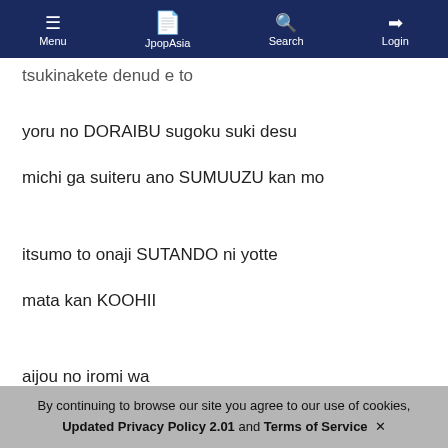Menu | JpopAsia | Search | Login
tsukinakete denud e to
yoru no DORAIBU sugoku suki desu
michi ga suiteru ano SUMUUZU kan mo
itsumo to onaji SUTANDO ni yotte
mata kan KOOHII
aijou no iromi wa
usumete kawaranu
hakkiri to shita mono da wa
kokoro de sakenderu
honshin wo sakenderu
ai wa eien to
nee ato hon no sukoshi
ude no naka de
By continuing to browse our site you agree to our use of cookies, Updated Privacy Policy 2.01 and Terms of Service ✕